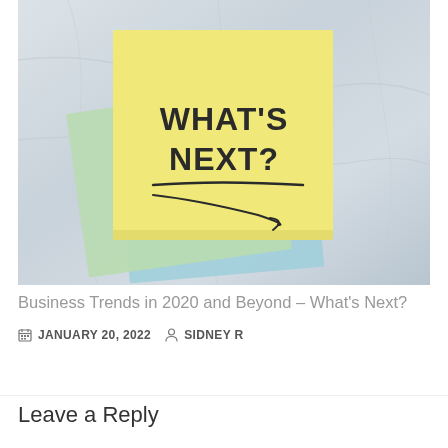[Figure (photo): Photograph of stacked sticky notes on a marble surface. The top note is yellow and reads 'WHAT'S NEXT?' with a hand-drawn arrow and squiggle beneath the text. Below are green and blue sticky notes.]
Business Trends in 2020 and Beyond – What's Next?
JANUARY 20, 2022   SIDNEY R
Leave a Reply